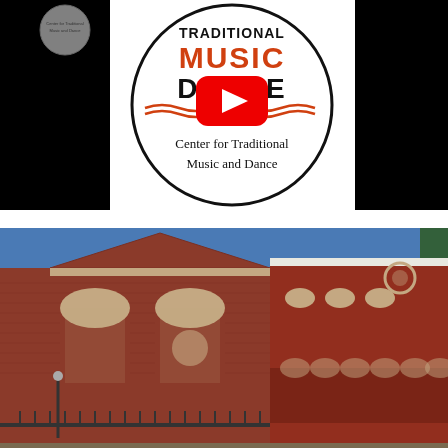[Figure (screenshot): YouTube video thumbnail showing the Center for Traditional Music and Dance logo — a circle containing bold text TRADITIONAL MUSIC AND DANCE in orange and black, wavy orange lines, and a red YouTube play button in the center. Below the logo within the circle reads 'Center for Traditional Music and Dance'. The background outside the circle is black.]
[Figure (photo): Exterior photograph of a red brick building with ornate architectural details including arched windows, carved decorative elements, and a gabled facade. The sky is bright blue. Trees are visible at the right edge. This appears to be a church or historic public building photographed from a corner angle.]